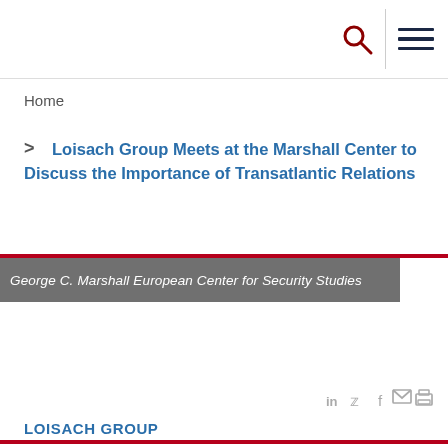George C. Marshall European Center for Security Studies — search and menu icons
Home
> Loisach Group Meets at the Marshall Center to Discuss the Importance of Transatlantic Relations
[Figure (screenshot): Banner image with dark overlay showing text: George C. Marshall European Center for Security Studies]
[Figure (infographic): Social media share icons: LinkedIn, Twitter, Facebook, Email, Print]
LOISACH GROUP